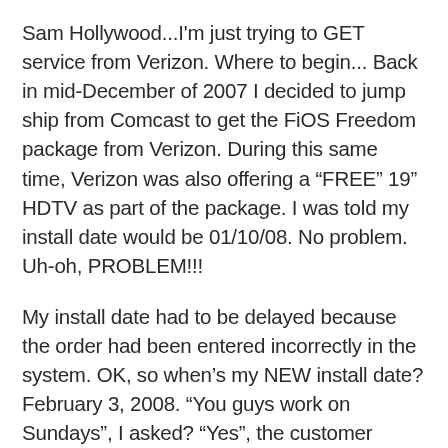Sam Hollywood...I'm just trying to GET service from Verizon. Where to begin... Back in mid-December of 2007 I decided to jump ship from Comcast to get the FiOS Freedom package from Verizon. During this same time, Verizon was also offering a “FREE” 19” HDTV as part of the package. I was told my install date would be 01/10/08. No problem. Uh-oh, PROBLEM!!!
My install date had to be delayed because the order had been entered incorrectly in the system. OK, so when’s my NEW install date?
February 3, 2008. “You guys work on Sundays”, I asked? “Yes”, the customer service agent